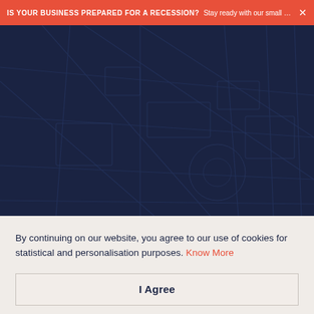IS YOUR BUSINESS PREPARED FOR A RECESSION? Stay ready with our small busin... ×
[Figure (illustration): Dark navy blue hero background with a faint city street map pattern overlaid, suggesting an urban/financial context.]
By continuing on our website, you agree to our use of cookies for statistical and personalisation purposes. Know More
I Agree